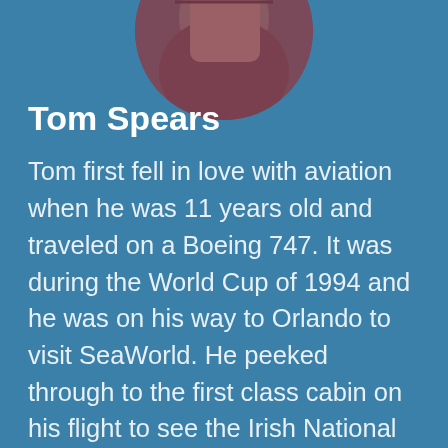[Figure (photo): Circular cropped photo of Tom Spears, partially visible at top of page showing a person with reddish/purplish tones]
Tom Spears
Tom first fell in love with aviation when he was 11 years old and traveled on a Boeing 747. It was during the World Cup of 1994 and he was on his way to Orlando to visit SeaWorld. He peeked through to the first class cabin on his flight to see the Irish National Soccer team flying in first class, and knew, even at his young age, that first class was the